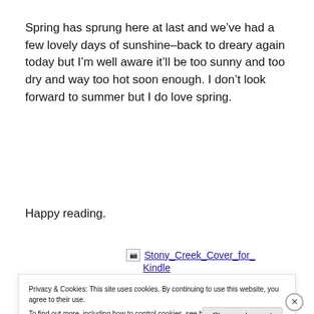Spring has sprung here at last and we’ve had a few lovely days of sunshine–back to dreary again today but I’m well aware it’ll be too sunny and too dry and way too hot soon enough. I don’t look forward to summer but I do love spring.
Happy reading.
[Figure (photo): Broken image placeholder with link text: Stony_Creek_Cover_for_Kindle]
Privacy & Cookies: This site uses cookies. By continuing to use this website, you agree to their use.
To find out more, including how to control cookies, see here: Cookie Policy
Close and accept